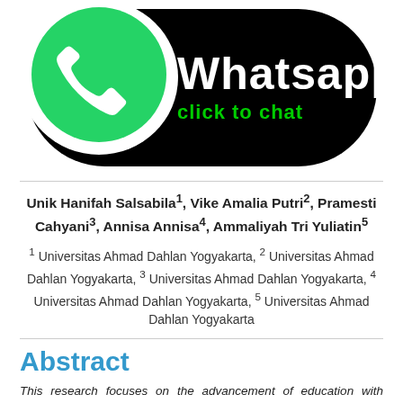[Figure (logo): WhatsApp 'click to chat' banner with WhatsApp logo on black rounded background]
Unik Hanifah Salsabila1, Vike Amalia Putri2, Pramesti Cahyani3, Annisa Annisa4, Ammaliyah Tri Yuliatin5
1 Universitas Ahmad Dahlan Yogyakarta, 2 Universitas Ahmad Dahlan Yogyakarta, 3 Universitas Ahmad Dahlan Yogyakarta, 4 Universitas Ahmad Dahlan Yogyakarta, 5 Universitas Ahmad Dahlan Yogyakarta
Abstract
This research focuses on the advancement of education with technology. Through technology education can develop rapidly and vice versa with technology, education can develop and also be conveyed to each individual. In this study, it is written